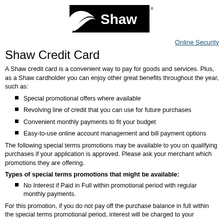[Figure (logo): Shaw logo — black rectangle with white Shaw text and stylized swoosh graphic]
Online Security
Shaw Credit Card
A Shaw credit card is a convenient way to pay for goods and services. Plus, as a Shaw cardholder you can enjoy other great benefits throughout the year, such as:
Special promotional offers where available
Revolving line of credit that you can use for future purchases
Convenient monthly payments to fit your budget
Easy-to-use online account management and bill payment options
The following special terms promotions may be available to you on qualifying purchases if your application is approved. Please ask your merchant which promotions they are offering.
Types of special terms promotions that might be available:
No Interest if Paid in Full within promotional period with regular monthly payments.
For this promotion, if you do not pay off the purchase balance in full within the special terms promotional period, interest will be charged to your